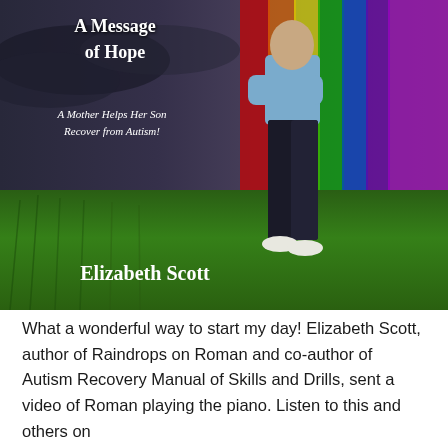[Figure (illustration): Book cover of 'A Message of Hope' by Elizabeth Scott. Shows a child standing in a field with a rainbow in the background, stormy sky on the left transitioning to rainbow colors on the right. Text reads 'A Mother Helps Her Son Recover from Autism!' Subtitle and author name visible.]
What a wonderful way to start my day! Elizabeth Scott, author of Raindrops on Roman and co-author of Autism Recovery Manual of Skills and Drills, sent a video of Roman playing the piano. Listen to this and others on